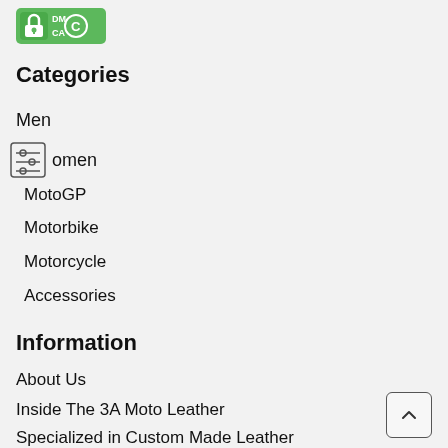[Figure (logo): DMCA protection logo badge, green background with white text and lock icon]
Categories
Men
[Figure (other): Filter/settings icon — small square with sliders symbol]
Women
MotoGP
Motorbike
Motorcycle
Accessories
Information
About Us
Inside The 3A Moto Leather
Specialized in Custom Made Leather